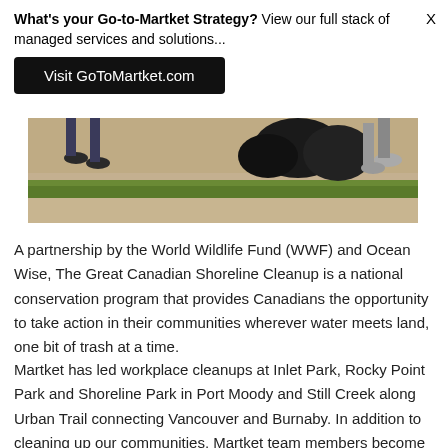What's your Go-to-Martket Strategy? View our full stack of managed services and solutions...
Visit GoToMartket.com
[Figure (photo): Bottom portion of a shoreline cleanup photo showing people's feet/legs and garbage bags on a sandy surface with a strip of green grass]
A partnership by the World Wildlife Fund (WWF) and Ocean Wise, The Great Canadian Shoreline Cleanup is a national conservation program that provides Canadians the opportunity to take action in their communities wherever water meets land, one bit of trash at a time.
Martket has led workplace cleanups at Inlet Park, Rocky Point Park and Shoreline Park in Port Moody and Still Creek along Urban Trail connecting Vancouver and Burnaby. In addition to cleaning up our communities, Martket team members become citizen scientists and track the kinds of litter we find to be included in national data and